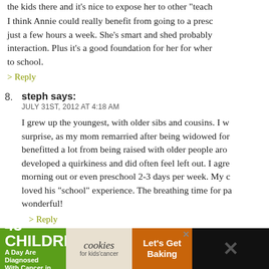the kids there and it’s nice to expose her to other “teach
I think Annie could really benefit from going to a presc just a few hours a week. She’s smart and shed probably interaction. Plus it’s a good foundation for her for wher to school.
> Reply
8. steph says: JULY 31ST, 2012 AT 4:18 AM
I grew up the youngest, with older sibs and cousins. I w surprise, as my mom remarried after being widowed for benefitted a lot from being raised with older people aro developed a quirkiness and did often feel left out. I agre morning out or even preschool 2-3 days per week. My c loved his “school” experience. The breathing time for pa wonderful!
> Reply
[Figure (infographic): Advertisement banner: '43 CHILDREN A Day Are Diagnosed With Cancer in the U.S.' with cookies for kids' cancer logo and 'Let's Get Baking' text on orange background]